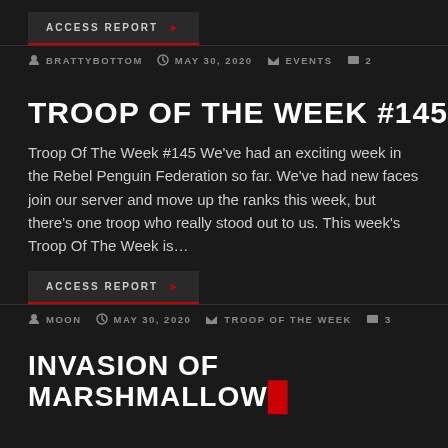ACCESS REPORT
BRATTYBOTTOM  MAY 30, 2020  EVENTS  2
TROOP OF THE WEEK #145
Troop Of The Week #145 We've had an exciting week in the Rebel Penguin Federation so far. We've had new faces join our server and move up the ranks this week, but there's one troop who really stood out to us. This week's Troop Of The Week is…
ACCESS REPORT
MOON  MAY 30, 2020  TROOP OF THE WEEK  3
INVASION OF MARSHMALLOW